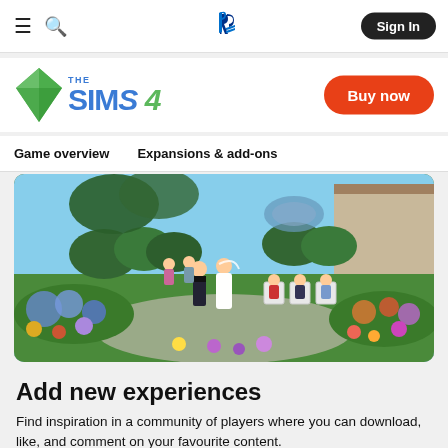PlayStation navigation bar with hamburger menu, search, PlayStation logo, and Sign In button
[Figure (logo): The Sims 4 logo with green diamond and blue stylized text]
Buy now
Game overview   Expansions & add-ons
[Figure (photo): The Sims 4 outdoor wedding scene with Sim characters in a garden with flowers, a couple exchanging vows while guests sit in white chairs]
Add new experiences
Find inspiration in a community of players where you can download, like, and comment on your favourite content.